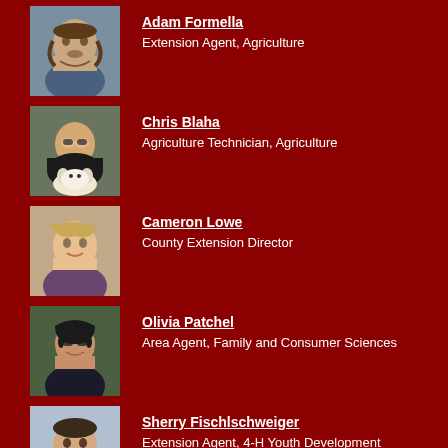[Figure (photo): Photo of Adam Formella, a young man with a beard wearing a plaid shirt]
Adam Formella
Extension Agent, Agriculture
[Figure (photo): Photo of Chris Blaha, a man with glasses posing with a white dog]
Chris Blaha
Agriculture Technician, Agriculture
[Figure (photo): Photo of Cameron Lowe, a woman smiling with light hair and headband]
Cameron Lowe
County Extension Director
[Figure (photo): Photo of Olivia Patchel, a young woman with dark hair and glasses]
Olivia Patchel
Area Agent, Family and Consumer Sciences
[Figure (photo): Photo of Sherry Fischlschweiger, a woman with short dark hair]
Sherry Fischlschweiger
Extension Agent, 4-H Youth Development
Let's Get In Touch